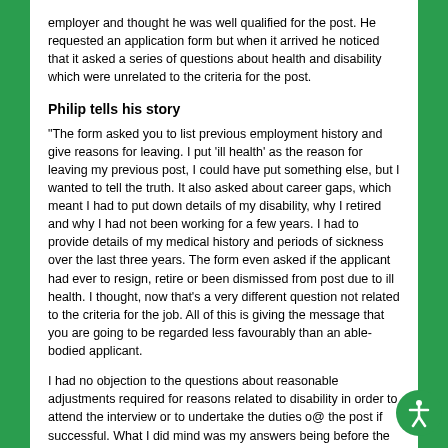employer and thought he was well qualified for the post. He requested an application form but when it arrived he noticed that it asked a series of questions about health and disability which were unrelated to the criteria for the post.
Philip tells his story
"The form asked you to list previous employment history and give reasons for leaving. I put 'ill health' as the reason for leaving my previous post, I could have put something else, but I wanted to tell the truth. It also asked about career gaps, which meant I had to put down details of my disability, why I retired and why I had not been working for a few years. I had to provide details of my medical history and periods of sickness over the last three years. The form even asked if the applicant had ever to resign, retire or been dismissed from post due to ill health. I thought, now that's a very different question not related to the criteria for the job. All of this is giving the message that you are going to be regarded less favourably than an able-bodied applicant.
I had no objection to the questions about reasonable adjustments required for reasons related to disability in order to attend the interview or to undertake the duties of the post if successful. What I did mind was my answers being before the panel as that sort of an assessment should